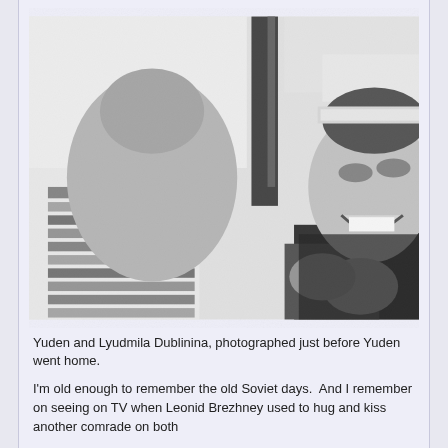[Figure (photo): Black and white photograph of two people, Yuden and Lyudmila Dublinina, smiling and laughing outdoors. One person is wearing goggles on their head. Appears to be a winter or outdoor setting with a wooden structure in the background.]
Yuden and Lyudmila Dublinina, photographed just before Yuden went home.
I'm old enough to remember the old Soviet days.  And I remember on seeing on TV when Leonid Brezhney used to hug and kiss another comrade on both